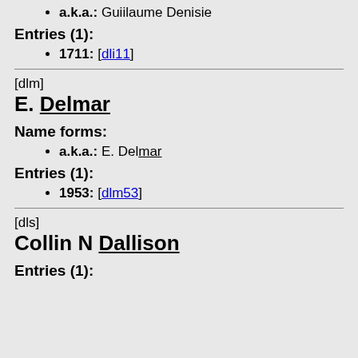a.k.a.: Guiilaume Denisie
Entries (1):
1711: [dli11]
[dlm]
E. Delmar
Name forms:
a.k.a.: E. Delmar
Entries (1):
1953: [dlm53]
[dls]
Collin N Dallison
Entries (1):